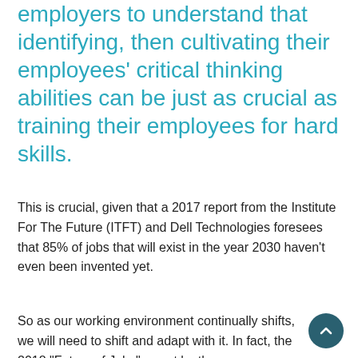employers to understand that identifying, then cultivating their employees' critical thinking abilities can be just as crucial as training their employees for hard skills.
This is crucial, given that a 2017 report from the Institute For The Future (ITFT) and Dell Technologies foresees that 85% of jobs that will exist in the year 2030 haven't even been invented yet.
So as our working environment continually shifts, we will need to shift and adapt with it. In fact, the 2018 "Future of Jobs" report by the